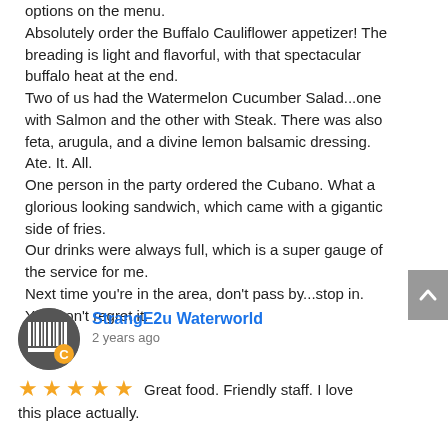options on the menu.
Absolutely order the Buffalo Cauliflower appetizer! The breading is light and flavorful, with that spectacular buffalo heat at the end.
Two of us had the Watermelon Cucumber Salad...one with Salmon and the other with Steak. There was also feta, arugula, and a divine lemon balsamic dressing.  Ate. It. All.
One person in the party ordered the Cubano. What a glorious looking sandwich, which came with a gigantic side of fries.
Our drinks were always full, which is a super gauge of the service for me.
Next time you're in the area, don't pass by...stop in.
You won't regret it.
StrangE2u Waterworld
2 years ago
★★★★★ Great food. Friendly staff. I love this place actually.